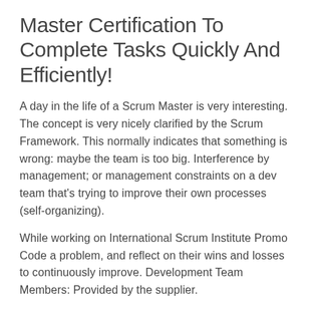Master Certification To Complete Tasks Quickly And Efficiently!
A day in the life of a Scrum Master is very interesting. The concept is very nicely clarified by the Scrum Framework. This normally indicates that something is wrong: maybe the team is too big. Interference by management; or management constraints on a dev team that's trying to improve their own processes (self-organizing).
While working on International Scrum Institute Promo Code a problem, and reflect on their wins and losses to continuously improve. Development Team Members: Provided by the supplier.